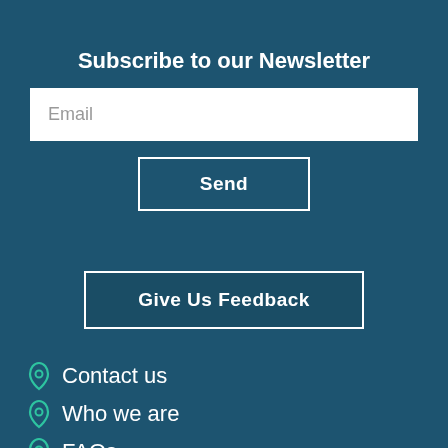Subscribe to our Newsletter
Email
Send
Give Us Feedback
Contact us
Who we are
FAQs